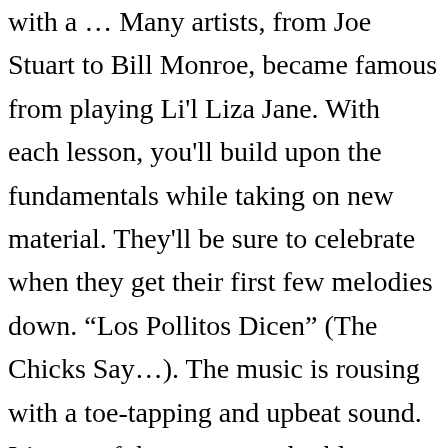with a … Many artists, from Joe Stuart to Bill Monroe, became famous from playing Li'l Liza Jane. With each lesson, you'll build upon the fundamentals while taking on new material. They'll be sure to celebrate when they get their first few melodies down. “Los Pollitos Dicen” (The Chicks Say…). The music is rousing with a toe-tapping and upbeat sound. It’s one of the most popular bluegrass songs of all time. As a beginner violinist, chances are you’re eager to play easy violin songs that will show off your new skills. If you’re new to violin lessons, your teacher can help